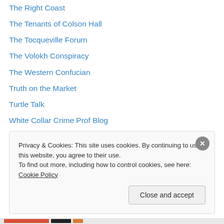The Right Coast
The Tenants of Colson Hall
The Tocqueville Forum
The Volokh Conspiracy
The Western Confucian
Truth on the Market
Turtle Talk
White Collar Crime Prof Blog
Wills, Trusts & Estates Prof Blog
Workplace Prof Blog
Writer's Write
Privacy & Cookies: This site uses cookies. By continuing to use this website, you agree to their use. To find out more, including how to control cookies, see here: Cookie Policy